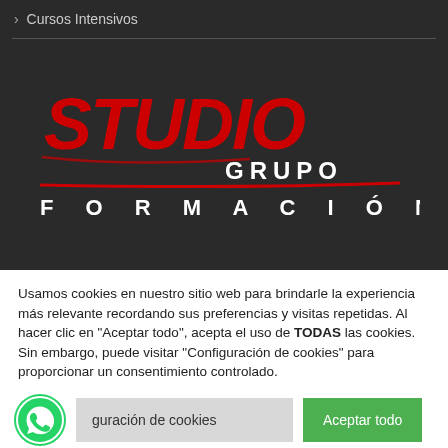› Cursos Intensivos
[Figure (logo): Studio Grupo Formación logo — 'STUDIO' in large red italic handwritten-style text, 'GRUPO' in white spaced caps below and to the right, 'F O R M A C I Ó N' in white spaced caps below on dark background]
Usamos cookies en nuestro sitio web para brindarle la experiencia más relevante recordando sus preferencias y visitas repetidas. Al hacer clic en "Aceptar todo", acepta el uso de TODAS las cookies. Sin embargo, puede visitar "Configuración de cookies" para proporcionar un consentimiento controlado.